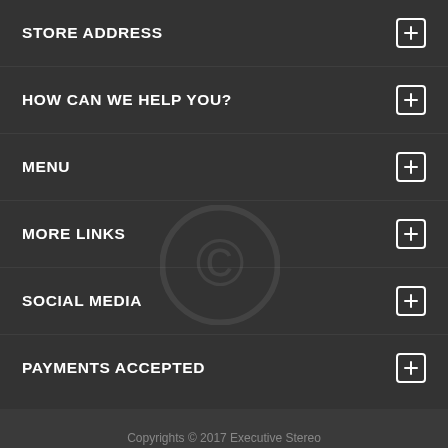STORE ADDRESS
HOW CAN WE HELP YOU?
MENU
MORE LINKS
SOCIAL MEDIA
PAYMENTS ACCEPTED
Copyrights © 2017 Executive Stereo
Search   About Us   Return Policy   Delivery Policy   Terms & Conditions
Price:  CAD ▾